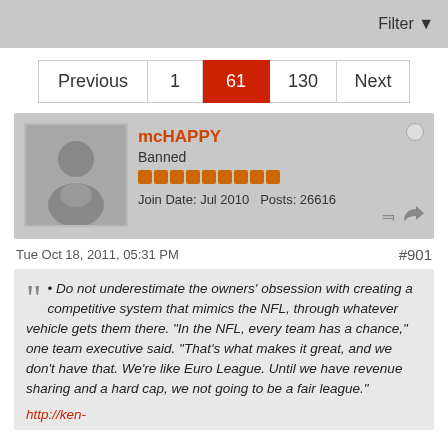Filter
Previous | 1 | 61 | 130 | Next
mcHAPPY
Banned
Join Date: Jul 2010  Posts: 26616
Tue Oct 18, 2011, 05:31 PM  #901
• Do not underestimate the owners' obsession with creating a competitive system that mimics the NFL, through whatever vehicle gets them there. "In the NFL, every team has a chance," one team executive said. "That's what makes it great, and we don't have that. We're like Euro League. Until we have revenue sharing and a hard cap, we not going to be a fair league."
http://ken-